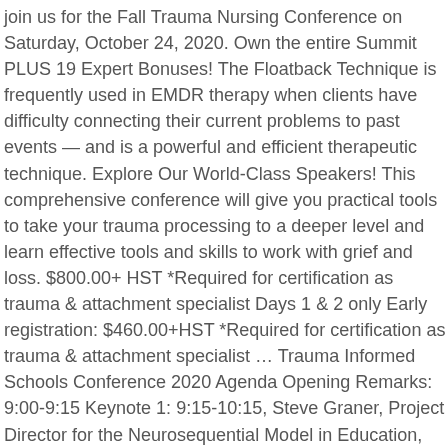join us for the Fall Trauma Nursing Conference on Saturday, October 24, 2020. Own the entire Summit PLUS 19 Expert Bonuses! The Floatback Technique is frequently used in EMDR therapy when clients have difficulty connecting their current problems to past events — and is a powerful and efficient therapeutic technique. Explore Our World-Class Speakers! This comprehensive conference will give you practical tools to take your trauma processing to a deeper level and learn effective tools and skills to work with grief and loss. $800.00+ HST *Required for certification as trauma & attachment specialist Days 1 & 2 only Early registration: $460.00+HST *Required for certification as trauma & attachment specialist ... Trauma Informed Schools Conference 2020 Agenda Opening Remarks: 9:00-9:15 Keynote 1: 9:15-10:15, Steve Graner, Project Director for the Neurosequential Model in Education, Session: Serving Kids Through the Lens of Neurodevelopment Break: 10:15-10:25 Keynote 2: 10:25-11:25, Habeebah Grimes, Chief Executive Officer of the Positive Education Program. You'll discover how we have a unique capacity to